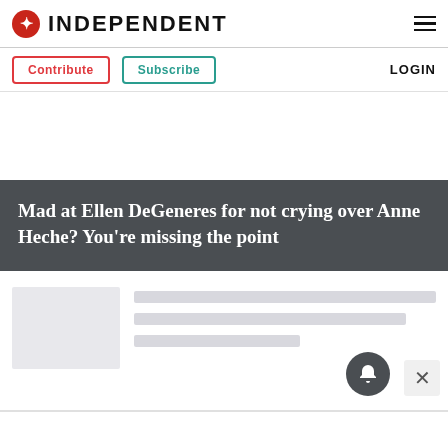INDEPENDENT
Contribute  Subscribe  LOGIN
Mad at Ellen DeGeneres for not crying over Anne Heche? You're missing the point
[Figure (photo): Article thumbnail placeholder image (grey rectangle)]
[Loading skeleton lines for article metadata]